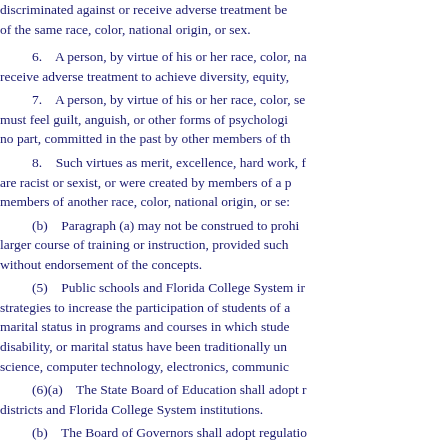discriminated against or receive adverse treatment be of the same race, color, national origin, or sex.
6.   A person, by virtue of his or her race, color, na receive adverse treatment to achieve diversity, equity,
7.   A person, by virtue of his or her race, color, se must feel guilt, anguish, or other forms of psychologi no part, committed in the past by other members of th
8.   Such virtues as merit, excellence, hard work, f are racist or sexist, or were created by members of a p members of another race, color, national origin, or se:
(b)   Paragraph (a) may not be construed to prohi larger course of training or instruction, provided such without endorsement of the concepts.
(5)   Public schools and Florida College System i strategies to increase the participation of students of a marital status in programs and courses in which stude disability, or marital status have been traditionally un science, computer technology, electronics, communic
(6)(a)   The State Board of Education shall adopt r districts and Florida College System institutions.
(b)   The Board of Governors shall adopt regulatio universities.
(7)   The functions of the Office of Equal Educatio